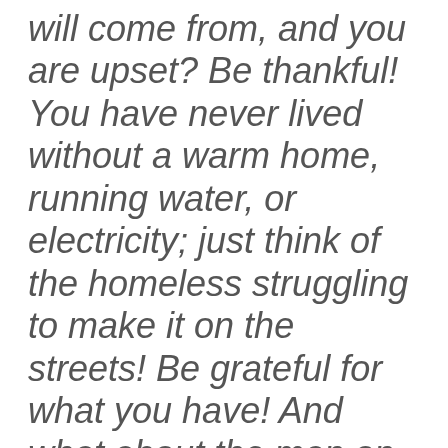will come from, and you are upset? Be thankful! You have never lived without a warm home, running water, or electricity; just think of the homeless struggling to make it on the streets! Be grateful for what you have! And what about the man on the news